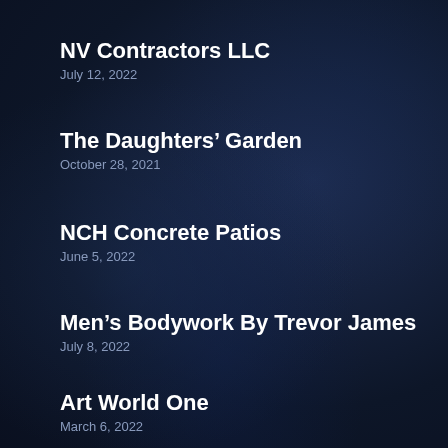NV Contractors LLC
July 12, 2022
The Daughters’ Garden
October 28, 2021
NCH Concrete Patios
June 5, 2022
Men’s Bodywork By Trevor James
July 8, 2022
Art World One
March 6, 2022